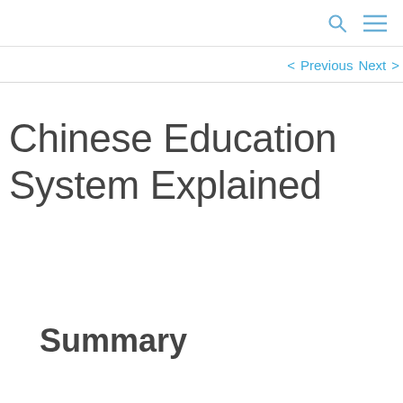🔍 ☰
< Previous   Next >
Chinese Education System Explained
Summary